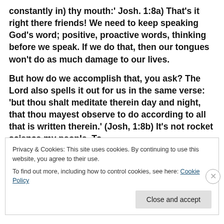constantly in) thy mouth:' Josh. 1:8a) That's it right there friends! We need to keep speaking God's word; positive, proactive words, thinking before we speak. If we do that, then our tongues won't do as much damage to our lives.
But how do we accomplish that, you ask? The Lord also spells it out for us in the same verse: 'but thou shalt meditate therein day and night, that thou mayest observe to do according to all that is written therein.' (Josh, 1:8b) It's not rocket science my people. To
Privacy & Cookies: This site uses cookies. By continuing to use this website, you agree to their use.
To find out more, including how to control cookies, see here: Cookie Policy